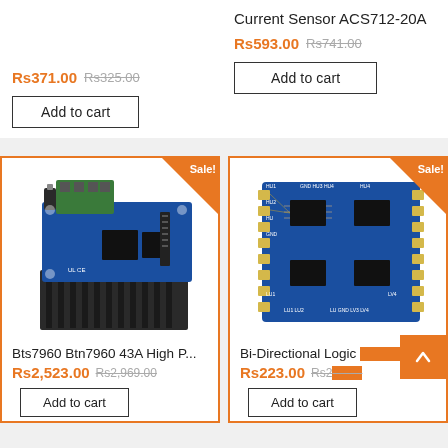Rs371.00 Rs325.00
Add to cart
Current Sensor ACS712-20A
Rs593.00 Rs741.00
Add to cart
[Figure (photo): Bts7960 Btn7960 43A High Power Motor Driver module with heatsink, blue PCB with green terminal blocks]
Sale!
Bts7960 Btn7960 43A High P...
Rs2,523.00 Rs2,969.00
Add to cart
[Figure (photo): Bi-Directional Logic Level Converter module, blue PCB with multiple ICs and header pins]
Sale!
Bi-Directional Logic Co...
Rs223.00 Rs297.00
Add to cart